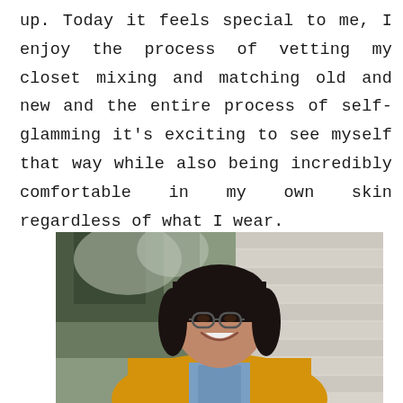up. Today it feels special to me, I enjoy the process of vetting my closet mixing and matching old and new and the entire process of self-glamming it's exciting to see myself that way while also being incredibly comfortable in my own skin regardless of what I wear.
[Figure (photo): A smiling woman with dark hair, glasses, wearing a yellow cardigan over a blue striped shirt, photographed outdoors in front of trees and a light-colored siding wall.]